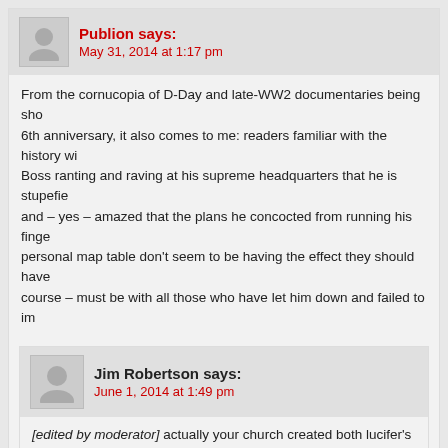Publion says: May 31, 2014 at 1:17 pm
From the cornucopia of D-Day and late-WW2 documentaries being shown on the 6th anniversary, it also comes to me: readers familiar with the history will recall Boss ranting and raving at his supreme headquarters that he is stupefied and – yes – amazed that the plans he concocted from running his fingers over his personal map table don't seem to be having the effect they should have. The fault of course – must be with all those who have let him down and failed to implement...
Jim Robertson says: June 1, 2014 at 1:49 pm
[edited by moderator] actually your church created both lucifer's and A...
There's only one person writing as me and that's me. I have many side...
Delphin says: May 31, 2014 at 4:15 pm